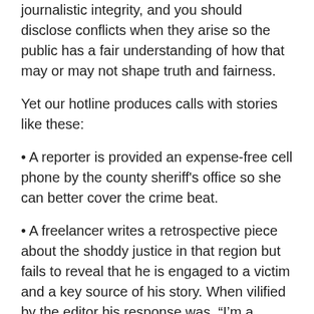journalistic integrity, and you should disclose conflicts when they arise so the public has a fair understanding of how that may or may not shape truth and fairness.
Yet our hotline produces calls with stories like these:
A reporter is provided an expense-free cell phone by the county sheriff's office so she can better cover the crime beat.
A freelancer writes a retrospective piece about the shoddy justice in that region but fails to reveal that he is engaged to a victim and a key source of his story. When vilified by the editor his response was, “I’m a freelancer and you have no right to pry into my personal life.”
An anchor at a major network twice reports on a battle to remove horse-drawn carriages from New York City and interviews only sources advocating for removing the horses. Despite evidence that accidents involving horses are few, no one who can defend the system appears on camera. The